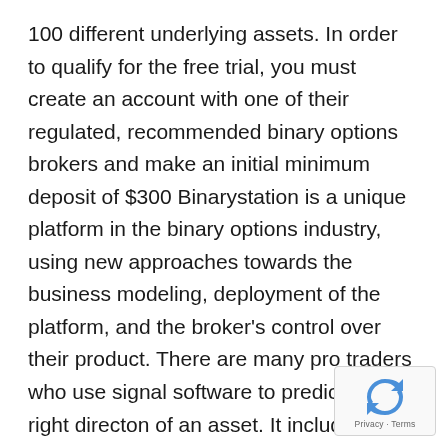100 different underlying assets. In order to qualify for the free trial, you must create an account with one of their regulated, recommended binary options brokers and make an initial minimum deposit of $300 Binarystation is a unique platform in the binary options industry, using new approaches towards the business modeling, deployment of the platform, and the broker's control over their product. There are many pro traders who use signal software to predict the right directon of an asset. It includes buy/sell signals and real time market updates, all in one interface which can be used for Binary options and forex. More and more people are sending us emails asking if the binary options trading sector is a scam in itself, as many horror stories have been shared lately on the Internet. It is very simple to start using the Binary Options Robot binary options software.
[Figure (other): reCAPTCHA badge with Privacy and Terms links]